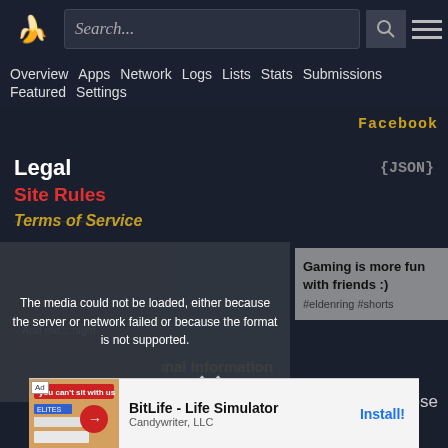Search... [search icon] [menu icon]
Overview  Apps  Network  Logs  Lists  Stats  Submissions  Featured  Settings
Facebook
Legal  {JSON}
Site Rules
Terms of Service
The media could not be loaded, either because the server or network failed or because the format is not supported.
Gaming is more fun with friends :) #eldenring #shorts
For California Residents:*
Do Not Sell My Personal Information
close
Ad  BitLife - Life Simulator  Candywriter, LLC  Install!